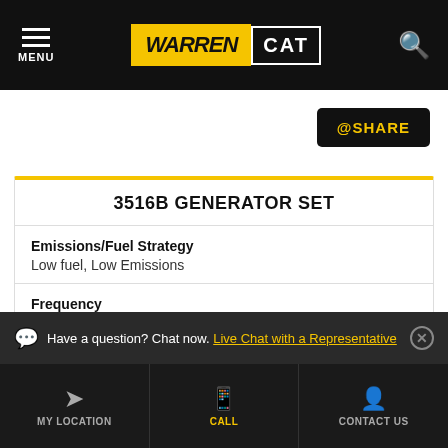[Figure (logo): Warren CAT logo in yellow and black on dark navigation bar with hamburger menu and search icon]
@SHARE
3516B GENERATOR SET
Emissions/Fuel Strategy
Low fuel, Low Emissions
Frequency
50 Hz
Speed
Have a question? Chat now. Live Chat with a Representative
MY LOCATION   CALL   CONTACT US